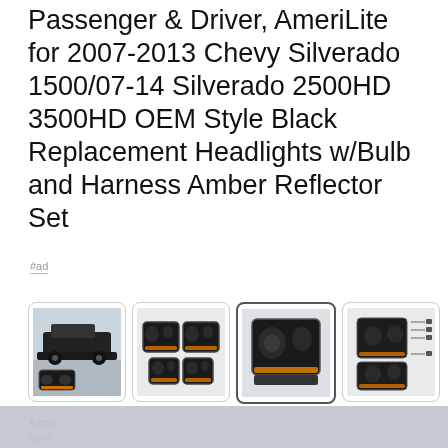Passenger & Driver, AmeriLite for 2007-2013 Chevy Silverado 1500/07-14 Silverado 2500HD 3500HD OEM Style Black Replacement Headlights w/Bulb and Harness Amber Reflector Set
#ad
[Figure (photo): Four thumbnail images of black replacement headlights for Chevy Silverado, showing different angles and configurations]
Ame
Nee
Warranty: Meets or exceeds DOT & SAE Standards. Fits: 2007...
As an Amazon Associate I earn from qualifying purchases. This website uses the only necessary cookies to ensure you get the best experience on our website. More information